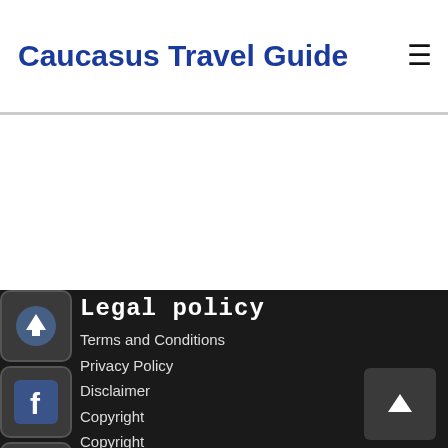Caucasus Travel Guide
Legal policy
Terms and Conditions
Privacy Policy
Disclaimer
Copyright
Copyright